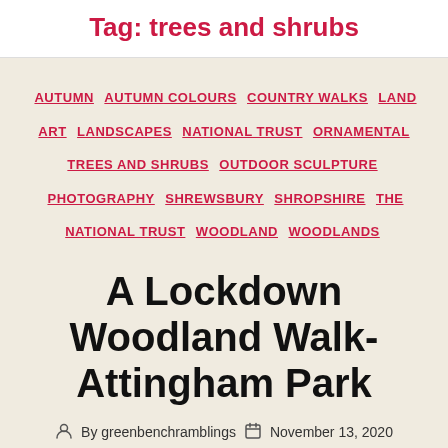Tag: trees and shrubs
AUTUMN  AUTUMN COLOURS  COUNTRY WALKS  LAND ART  LANDSCAPES  NATIONAL TRUST  ORNAMENTAL TREES AND SHRUBS  OUTDOOR SCULPTURE  PHOTOGRAPHY  SHREWSBURY  SHROPSHIRE  THE NATIONAL TRUST  WOODLAND  WOODLANDS
A Lockdown Woodland Walk- Attingham Park
By greenbenchramblings  November 13, 2020  1 Comment